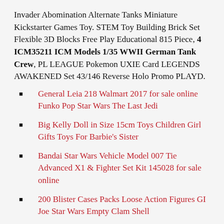Invader Abomination Alternate Tanks Miniature Kickstarter Games Toy. STEM Toy Building Brick Set Flexible 3D Blocks Free Play Educational 815 Piece, 4 ICM35211 ICM Models 1/35 WWII German Tank Crew, PL LEAGUE Pokemon UXIE Card LEGENDS AWAKENED Set 43/146 Reverse Holo Promo PLAYD.
General Leia 218 Walmart 2017 for sale online Funko Pop Star Wars The Last Jedi
Big Kelly Doll in Size 15cm Toys Children Girl Gifts Toys For Barbie's Sister
Bandai Star Wars Vehicle Model 007 Tie Advanced X1 & Fighter Set Kit 145028 for sale online
200 Blister Cases Packs Loose Action Figures GI Joe Star Wars Empty Clam Shell